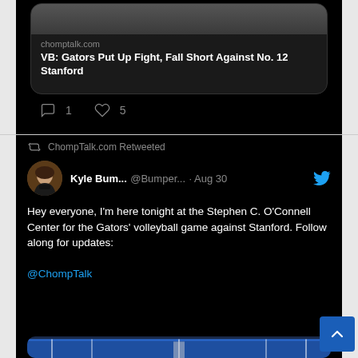[Figure (screenshot): Link card showing chomptalk.com article: VB: Gators Put Up Fight, Fall Short Against No. 12 Stanford]
chomptalk.com
VB: Gators Put Up Fight, Fall Short Against No. 12 Stanford
1  5 (reply and like counts)
ChompTalk.com Retweeted
Kyle Bum...  @Bumper...  · Aug 30
Hey everyone, I'm here tonight at the Stephen C. O'Connell Center for the Gators' volleyball game against Stanford. Follow along for updates:

@ChompTalk
[Figure (photo): Indoor volleyball arena/gym photo showing the Stephen C. O'Connell Center with blue court, spectators, and players warming up]